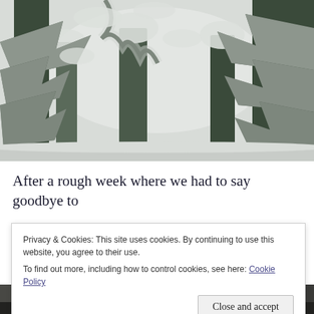[Figure (photo): Black and white photograph of snow-covered evergreen trees with heavy snow on branches, viewed from below looking up.]
After a rough week where we had to say goodbye to our sweet baby dog, Annie, Mother Nature gifted us
Privacy & Cookies: This site uses cookies. By continuing to use this website, you agree to their use.
To find out more, including how to control cookies, see here: Cookie Policy
[Figure (photo): Partial view of a second photograph at the bottom of the page, showing dark silhouettes.]